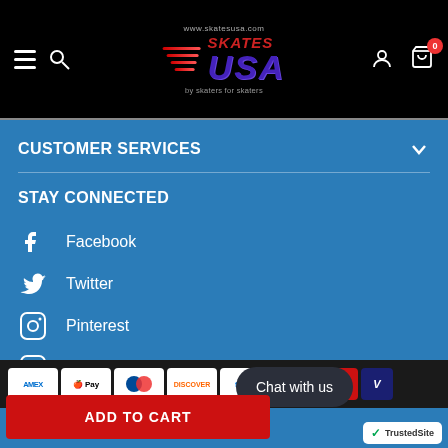www.skatesusa.com — Skates USA by skaters for skaters — navigation header
CUSTOMER SERVICES
STAY CONNECTED
Facebook
Twitter
Pinterest
Instagram
YouTube
[Figure (other): Payment method icons: Amex, Apple Pay, Diners, Discover, Meta Pay, Google Pay, and more]
Chat with us
ADD TO CART
[Figure (logo): TrustedSite badge]